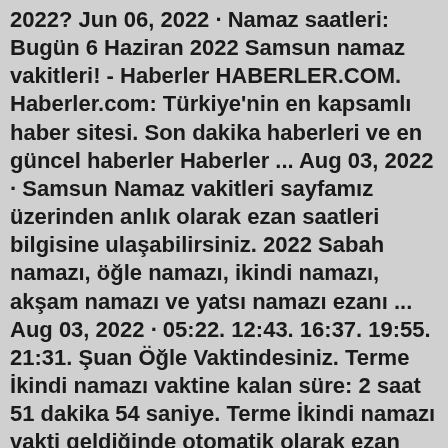2022? Jun 06, 2022 · Namaz saatleri: Bugün 6 Haziran 2022 Samsun namaz vakitleri! - Haberler HABERLER.COM. Haberler.com: Türkiye'nin en kapsamlı haber sitesi. Son dakika haberleri ve en güncel haberler Haberler ... Aug 03, 2022 · Samsun Namaz vakitleri sayfamız üzerinden anlık olarak ezan saatleri bilgisine ulaşabilirsiniz. 2022 Sabah namazı, öğle namazı, ikindi namazı, akşam namazı ve yatsı namazı ezanı ... Aug 03, 2022 · 05:22. 12:43. 16:37. 19:55. 21:31. Şuan Öğle Vaktindesiniz. Terme İkindi namazı vaktine kalan süre: 2 saat 51 dakika 54 saniye. Terme İkindi namazı vakti geldiğinde otomatik olarak ezan okunacaktır. Ezanı dinlemek için lütfen sayfayı kapatmayınız. Jul 25, 2022 · 2022 Samsun Namaz Vakitleri sayfası üzerinden Samsun İçin Diyanet Namaz Vakitleri İmsak, Güneş, Öğle, İkindi, Akşam, Yatsı saatlerine ulaşabilirsiniz. BİST 2.517 0.21 EURO 18.19 0.34 ... Ana Sayfa Namaz Vakitleri Türkiye Namaz Vakitleri Samsun Namaz Vakitleri Samsun Cuma Namazı Vakti Saat Kaçta? Akşam, Yatsı, 10 Haziran 2022 Cuma Jul 08, 2022 ·